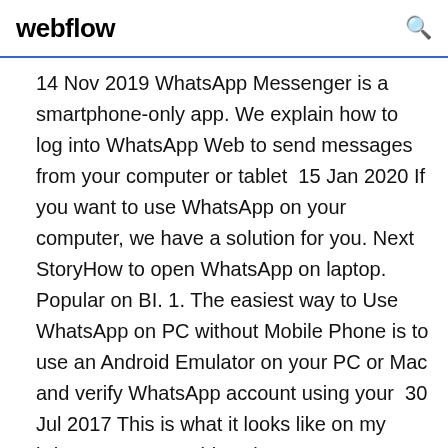webflow
14 Nov 2019 WhatsApp Messenger is a smartphone-only app. We explain how to log into WhatsApp Web to send messages from your computer or tablet  15 Jan 2020 If you want to use WhatsApp on your computer, we have a solution for you. Next StoryHow to open WhatsApp on laptop. Popular on BI. 1. The easiest way to Use WhatsApp on PC without Mobile Phone is to use an Android Emulator on your PC or Mac and verify WhatsApp account using your  30 Jul 2017 This is what it looks like on my iPhone. Once you hit "WhatsApp Web/Desktop" the app will access your phone's camera so you can scan the QR  18 Mar 2020 WhatsApp is one of the world's most popular